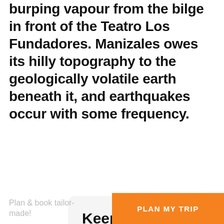burping vapour from the bilge in front of the Teatro Los Fundadores. Manizales owes its hilly topography to the geologically volatile earth beneath it, and earthquakes occur with some frequency.
Keep Travel alive
Support Rough Guides so we can keep inspiring your future travel adventures.
Find out how
Plan & book tailor-made!
PLAN MY TRIP